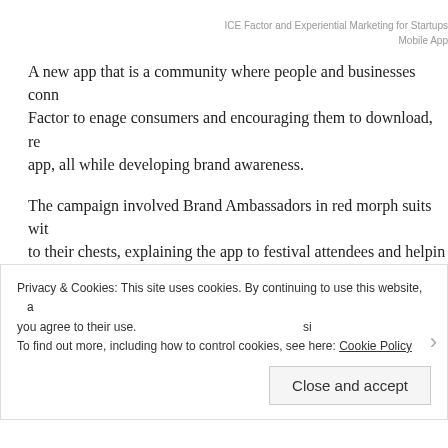ICE Factor and Experiential Marketing for Startups
Mobile App
A new app that is a community where people and businesses connect. ICE Factor to enage consumers and encouraging them to download, register the app, all while developing brand awareness.
The campaign involved Brand Ambassadors in red morph suits with iPads strapped to their chests, explaining the app to festival attendees and helping them register. activation took place over three days, within which time approximately registered and 10,000+ interactions/impressions took place.
The Brand Ambassadors in red morph suits served a number of d...
Privacy & Cookies: This site uses cookies. By continuing to use this website, you agree to their use.
To find out more, including how to control cookies, see here: Cookie Policy
Close and accept